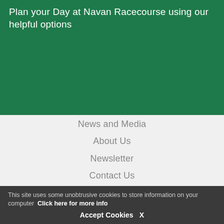Plan your Day at Navan Racecourse using our helpful options
News and Media
About Us
Newsletter
Contact Us
Terms & Conditions
Privacy Policy
Accessibility
This site uses some unobtrusive cookies to store information on your computer  Click here for more info
Accept Cookies   X